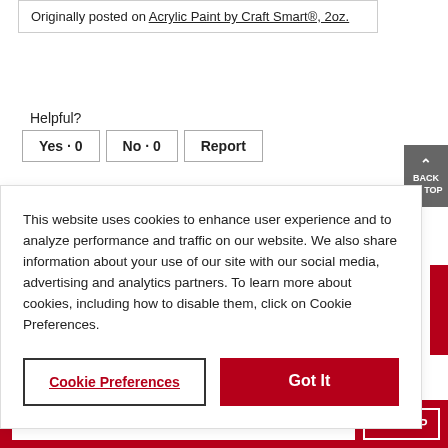Originally posted on Acrylic Paint by Craft Smart®, 2oz.
Helpful?
Yes · 0   No · 0   Report
This website uses cookies to enhance user experience and to analyze performance and traffic on our website. We also share information about your use of our site with our social media, advertising and analytics partners. To learn more about cookies, including how to disable them, click on Cookie Preferences.
Cookie Preferences
Got It
Enter email address
SIGN UP